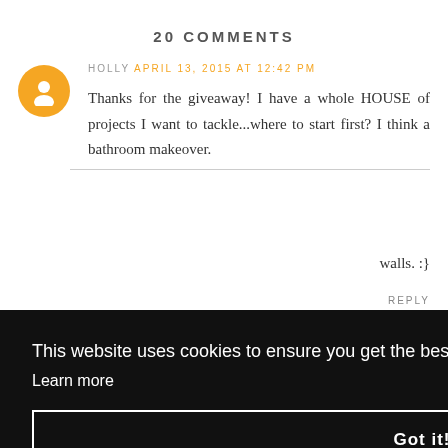20 COMMENTS
HOLLY APRIL 13, 2015 AT 12:42 PM
Thanks for the giveaway! I have a whole HOUSE of projects I want to tackle...where to start first? I think a bathroom makeover.
REPLY
This website uses cookies to ensure you get the best experience on our website. Learn more
Got it!
walls. :}
REPLY
UNKNOWN APRIL 13, 2015 AT 1:01 PM